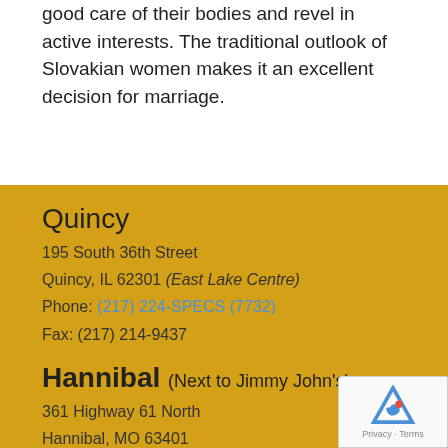good care of their bodies and revel in active interests. The traditional outlook of Slovakian women makes it an excellent decision for marriage.
Quincy
195 South 36th Street
Quincy, IL 62301 (East Lake Centre)
Phone: (217) 224-SPECS (7732)
Fax: (217) 214-9437
Hannibal (Next to Jimmy John's)
361 Highway 61 North
Hannibal, MO 63401
Phone: (573) 600-6511